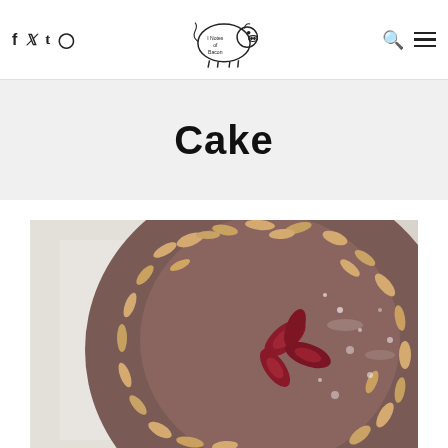I Notes of Bacon — blog header with social icons (f, t, T, Instagram) and navigation (search, menu)
Cake
[Figure (photo): Top-down view of a round cake topped with sliced almonds and plum slices, dusted with powdered sugar, on parchment paper.]